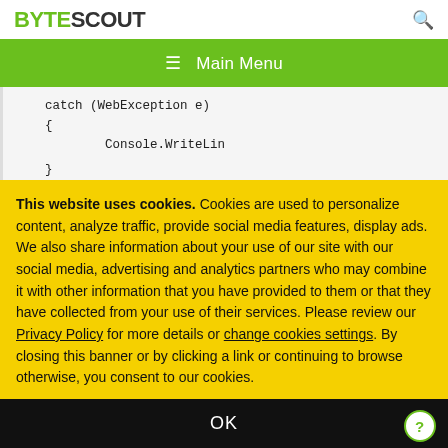BYTESCOUT
≡ Main Menu
[Figure (screenshot): Code block showing partial C# code: catch (WebException e) { Console.WriteLin }]
This website uses cookies. Cookies are used to personalize content, analyze traffic, provide social media features, display ads. We also share information about your use of our site with our social media, advertising and analytics partners who may combine it with other information that you have provided to them or that they have collected from your use of their services. Please review our Privacy Policy for more details or change cookies settings. By closing this banner or by clicking a link or continuing to browse otherwise, you consent to our cookies.
OK